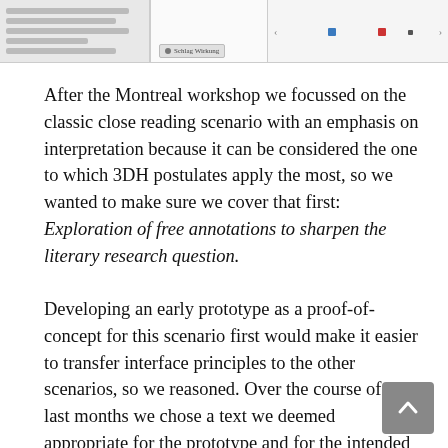[Figure (screenshot): A screenshot showing a document annotation interface on the left with German text and highlighted lines, and a visualization panel on the right with colored dots (blue, red, dark) on a light background, along with a button in the middle panel.]
After the Montreal workshop we focussed on the classic close reading scenario with an emphasis on interpretation because it can be considered the one to which 3DH postulates apply the most, so we wanted to make sure we cover that first: Exploration of free annotations to sharpen the literary research question.
Developing an early prototype as a proof-of-concept for this scenario first would make it easier to transfer interface principles to the other scenarios, so we reasoned. Over the course of the last months we chose a text we deemed appropriate for the prototype and for the intended audience and populated the scenario